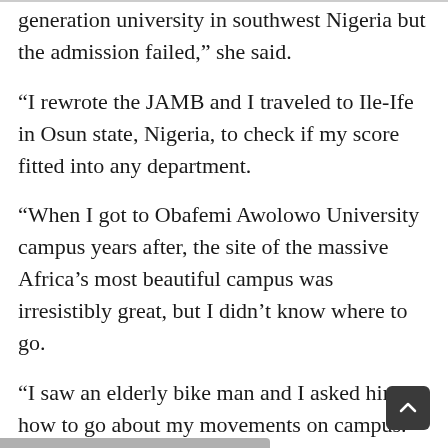generation university in southwest Nigeria but the admission failed,” she said.
“I rewrote the JAMB and I traveled to Ile-Ife in Osun state, Nigeria, to check if my score fitted into any department.
“When I got to Obafemi Awolowo University campus years after, the site of the massive Africa’s most beautiful campus was irresistibly great, but I didn’t know where to go.
“I saw an elderly bike man and I asked him how to go about my movements on campus. He asked what I wanted and I told him I was there for